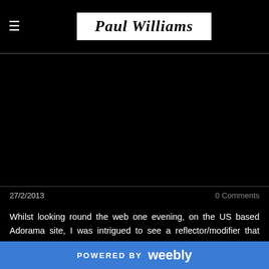Paul Williams
[Figure (other): Black background image area below header]
27/2/2013    0 Comments
Whilst looking round the web one evening, on the US based Adorama site, I was intrigued to see a reflector/modifier that looked as though it was based upon the 'V' mount design, but for another brand the Flashpoint II.  Based on the rather minuscule price ($9.99)
POWERED BY weebly